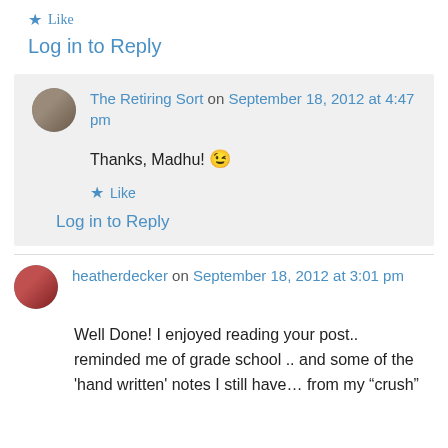★ Like
Log in to Reply
The Retiring Sort on September 18, 2012 at 4:47 pm
Thanks, Madhu! 😉
★ Like
Log in to Reply
heatherdecker on September 18, 2012 at 3:01 pm
Well Done! I enjoyed reading your post.. reminded me of grade school .. and some of the 'hand written' notes I still have… from my "crush"